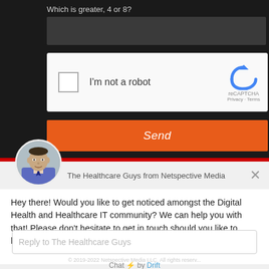Which is greater, 4 or 8?
[Figure (screenshot): reCAPTCHA widget with checkbox and 'I'm not a robot' label, with reCAPTCHA logo and Privacy/Terms links]
Send
[Figure (photo): Circular avatar photo of a man in a suit and tie]
The Healthcare Guys from Netspective Media
Hey there! Would you like to get noticed amongst the Digital Health and Healthcare IT community? We can help you with that! Please don't hesitate to get in touch should you like to learn more.
Reply to The Healthcare Guys
Chat ⚡ by Drift